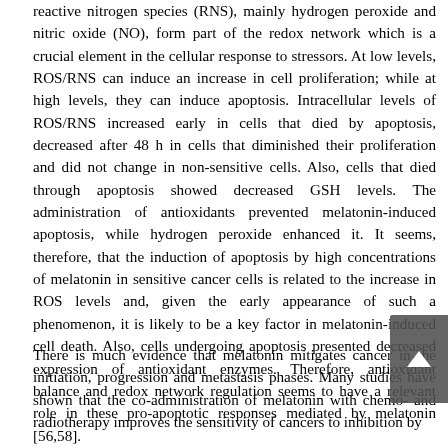reactive nitrogen species (RNS), mainly hydrogen peroxide and nitric oxide (NO), form part of the redox network which is a crucial element in the cellular response to stressors. At low levels, ROS/RNS can induce an increase in cell proliferation; while at high levels, they can induce apoptosis. Intracellular levels of ROS/RNS increased early in cells that died by apoptosis, decreased after 48 h in cells that diminished their proliferation and did not change in non-sensitive cells. Also, cells that died through apoptosis showed decreased GSH levels. The administration of antioxidants prevented melatonin-induced apoptosis, while hydrogen peroxide enhanced it. It seems, therefore, that the induction of apoptosis by high concentrations of melatonin in sensitive cancer cells is related to the increase in ROS levels and, given the early appearance of such a phenomenon, it is likely to be a key factor in melatonin-induced cell death. Also, cells undergoing apoptosis presented decreased expression of antioxidant enzymes. Therefore, antioxidant balance and redox network regulation seems to have a relevant role in these pro-apoptotic responses mediated by melatonin [56,58].
There is much evidence that melatonin mitigates cancer in the initiation, progression and metastasis phases. Many studies have shown that the co-administration of melatonin with chemo- and radiotherapy improves the sensitivity of cancers to inhibition by